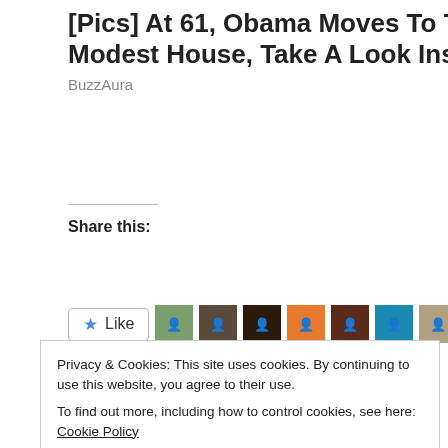[Pics] At 61, Obama Moves To This Modest House, Take A Look Inside
BuzzAura
Share this:
Share
[Figure (illustration): Like button with blue star icon and avatars of 185 bloggers]
185 bloggers like this.
Related
Privacy & Cookies: This site uses cookies. By continuing to use this website, you agree to their use.
To find out more, including how to control cookies, see here: Cookie Policy
Close and accept
Is nothing means so